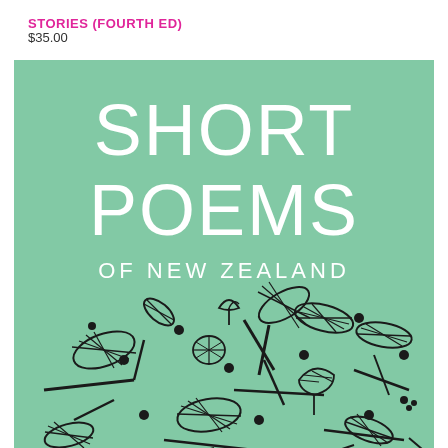STORIES (FOURTH ED)
$35.00
[Figure (illustration): Book cover of 'Short Poems of New Zealand' with mint green background. Large white text reads 'SHORT POEMS' with smaller text 'OF NEW ZEALAND' below. The bottom half features decorative black illustrated leaves, branches, dots, and botanical motifs on the green background.]